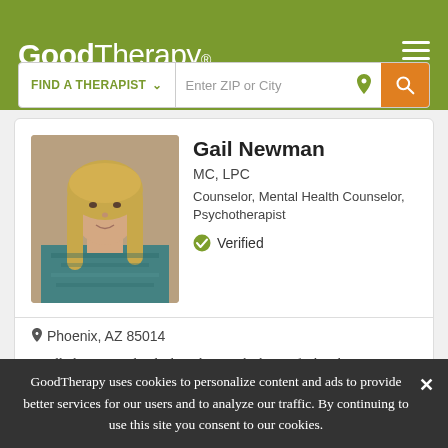[Figure (logo): GoodTherapy logo in white on olive/green header background]
[Figure (screenshot): Find a Therapist search bar with ZIP or City input and orange search button]
[Figure (photo): Portrait photo of Gail Newman, a woman with blonde hair wearing a teal patterned top]
Gail Newman
MC, LPC
Counselor, Mental Health Counselor, Psychotherapist
Verified
Phoenix, AZ 85014
I really listen to individuals and get to the heart of what they are needing. People have difficulty being objective with themselves. I
GoodTherapy uses cookies to personalize content and ads to provide better services for our users and to analyze our traffic. By continuing to use this site you consent to our cookies.